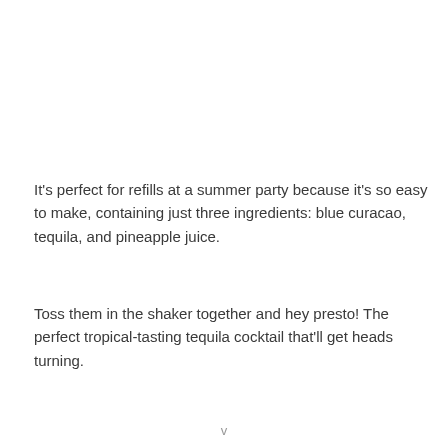It's perfect for refills at a summer party because it's so easy to make, containing just three ingredients: blue curacao, tequila, and pineapple juice.
Toss them in the shaker together and hey presto! The perfect tropical-tasting tequila cocktail that'll get heads turning.
v